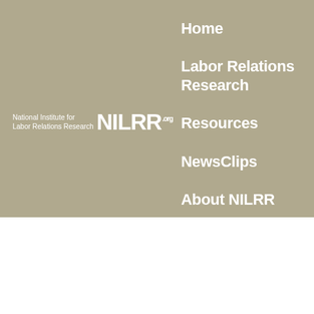[Figure (logo): National Institute for Labor Relations Research NILRR.org logo in white on khaki/tan background]
Home
Labor Relations Research
Resources
NewsClips
About NILRR
Support NILRR